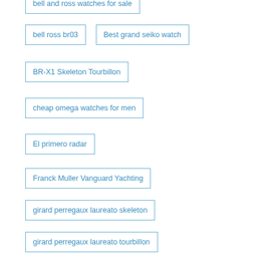bell and ross watches for sale
bell ross br03
Best grand seiko watch
BR-X1 Skeleton Tourbillon
cheap omega watches for men
El primero radar
Franck Muller Vanguard Yachting
girard perregaux laureato skeleton
girard perregaux laureato tourbillon
grand seiko
grand seiko spring drive
omega seamaster
Omega Seamaster Diver 300m